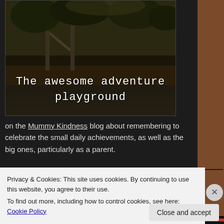[Figure (photo): Playground image with dark/nature background]
The awesome adventure playground
a d a p o st
on the Mummy Kindness blog about remembering to celebrate the small daily achievements, as well as the big ones, particularly as a parent.
On those days when the chores are overwhelming, the laundry endless, the fridge empty, the children impossible and the tears enough to fill a paddling pool
Privacy & Cookies: This site uses cookies. By continuing to use this website, you agree to their use.
To find out more, including how to control cookies, see here: Cookie Policy
Close and accept